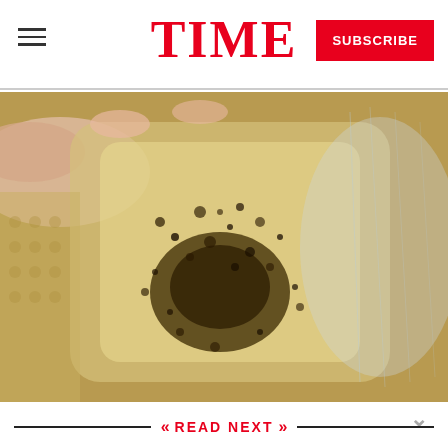TIME
[Figure (photo): Close-up photo of a clear/translucent substance with dark golden-brown speckled spots, being held by fingers with manicured nails, against a faceted glass background.]
READ NEXT
[Figure (photo): Small thumbnail photo of Hillary Clinton speaking at a podium.]
Read Hillary Clinton's Speech on Unity in Divided U.S.